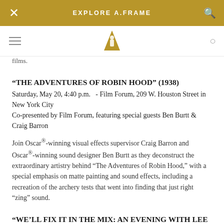EXPLORE A.FRAME
films.
“THE ADVENTURES OF ROBIN HOOD” (1938)
Saturday, May 20, 4:40 p.m.  - Film Forum, 209 W. Houston Street in New York City
Co-presented by Film Forum, featuring special guests Ben Burtt & Craig Barron
Join Oscar®-winning visual effects supervisor Craig Barron and Oscar®-winning sound designer Ben Burtt as they deconstruct the extraordinary artistry behind “The Adventures of Robin Hood,” with a special emphasis on matte painting and sound effects, including a recreation of the archery tests that went into finding that just right “zing” sound.
“WE’LL FIX IT IN THE MIX: AN EVENING WITH LEE